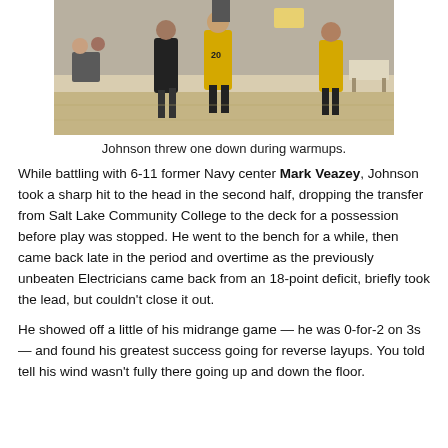[Figure (photo): Basketball players on an indoor court during warmups, players wearing yellow and black uniforms]
Johnson threw one down during warmups.
While battling with 6-11 former Navy center Mark Veazey, Johnson took a sharp hit to the head in the second half, dropping the transfer from Salt Lake Community College to the deck for a possession before play was stopped. He went to the bench for a while, then came back late in the period and overtime as the previously unbeaten Electricians came back from an 18-point deficit, briefly took the lead, but couldn’t close it out.
He showed off a little of his midrange game — he was 0-for-2 on 3s — and found his greatest success going for reverse layups. You told tell his wind wasn’t fully there going up and down the floor.